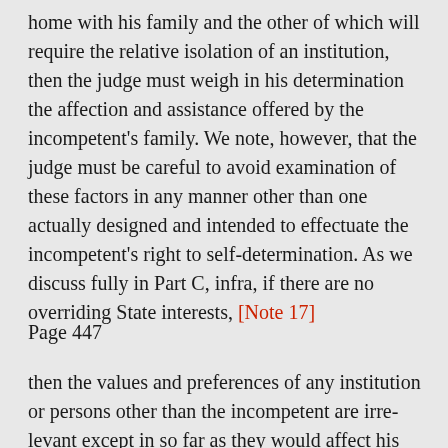home with his family and the other of which will require the relative isolation of an institution, then the judge must weigh in his determination the affection and assistance offered by the incompetent's family. We note, however, that the judge must be careful to avoid examination of these factors in any manner other than one actually designed and intended to effectuate the incompetent's right to self-determination. As we discuss fully in Part C, infra, if there are no overriding State interests, [Note 17]
Page 447
then the values and preferences of any institu or persons other than the incompetent are irre except in so far as they would affect his choice.